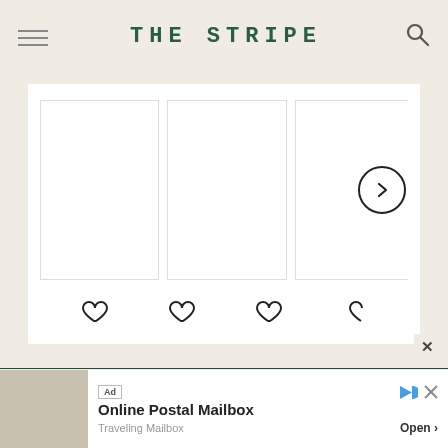THE STRIPE
[Figure (screenshot): A shopping carousel with three product image placeholders (white boxes with borders), a right-arrow navigation button, and heart/like icons below each product card]
LET'S GET TO THE COMMENTS >
[Figure (screenshot): Advertisement banner: Online Postal Mailbox - Traveling Mailbox - Open button, with Ad label, play and close icons]